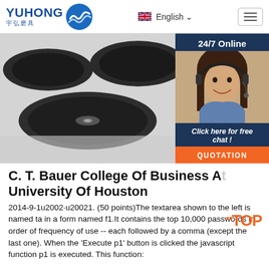YUHONG 宇弘磨具 — English navigation header with hamburger menu
[Figure (photo): Close-up photo of black grinding/cutting discs on a white surface. Sidebar overlay shows a customer service agent with headset, '24/7 Online' label, 'Click here for free chat!' text, and an orange QUOTATION button.]
C. T. Bauer College Of Business At University Of Houston
2014-9-1u2002·u20021. (50 points)The textarea shown to the left is named ta in a form named f1.It contains the top 10,000 passwords in order of frequency of use -- each followed by a comma (except the last one). When the 'Execute p1' button is clicked the javascript function p1 is executed. This function: